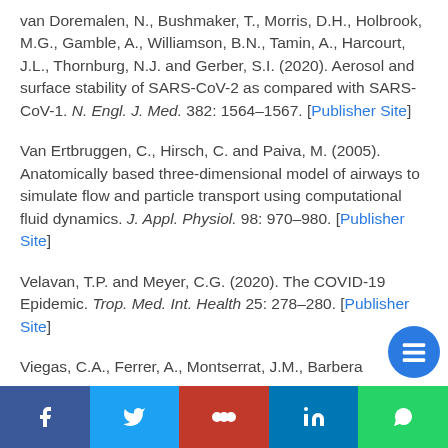van Doremalen, N., Bushmaker, T., Morris, D.H., Holbrook, M.G., Gamble, A., Williamson, B.N., Tamin, A., Harcourt, J.L., Thornburg, N.J. and Gerber, S.I. (2020). Aerosol and surface stability of SARS-CoV-2 as compared with SARS-CoV-1. N. Engl. J. Med. 382: 1564–1567. [Publisher Site]
Van Ertbruggen, C., Hirsch, C. and Paiva, M. (2005). Anatomically based three-dimensional model of airways to simulate flow and particle transport using computational fluid dynamics. J. Appl. Physiol. 98: 970–980. [Publisher Site]
Velavan, T.P. and Meyer, C.G. (2020). The COVID-19 Epidemic. Trop. Med. Int. Health 25: 278–280. [Publisher Site]
Viegas, C.A., Ferrer, A., Montserrat, J.M., Barbera...